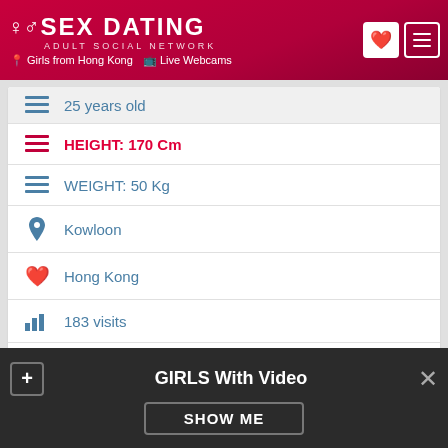SEX DATING ADULT SOCIAL NETWORK | Girls from Hong Kong | Live Webcams
25 years old
HEIGHT: 170 Cm
WEIGHT: 50 Kg
Kowloon
Hong Kong
183 visits
5 hours ago
HAIR: Bald
GIRLS With Video
SHOW ME